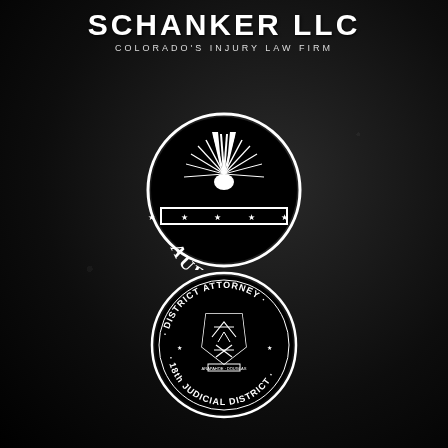SCHANKER LLC
COLORADO'S INJURY LAW FIRM
[Figure (logo): City of Aurora circular seal/logo with sunburst design and stars, white on black background]
[Figure (logo): District Attorney 18th Judicial District circular seal with Colorado state emblem, white on black background]